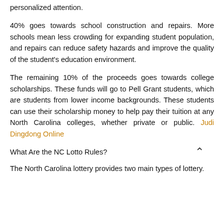personalized attention.
40% goes towards school construction and repairs. More schools mean less crowding for expanding student population, and repairs can reduce safety hazards and improve the quality of the student’s education environment.
The remaining 10% of the proceeds goes towards college scholarships. These funds will go to Pell Grant students, which are students from lower income backgrounds. These students can use their scholarship money to help pay their tuition at any North Carolina colleges, whether private or public. Judi Dingdong Online
What Are the NC Lotto Rules?
The North Carolina lottery provides two main types of lottery.